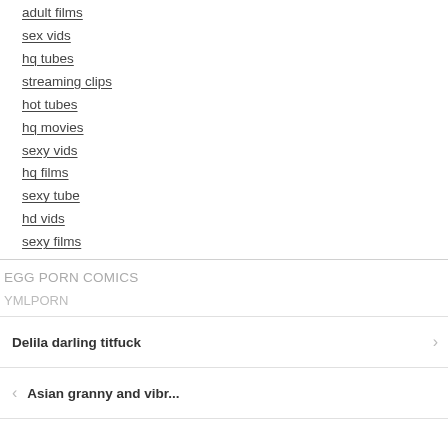adult films
sex vids
hq tubes
streaming clips
hot tubes
hq movies
sexy vids
hq films
sexy tube
hd vids
sexy films
EGG PORN COMICS
YMLPORN
Delila darling titfuck
Asian granny and vibr...